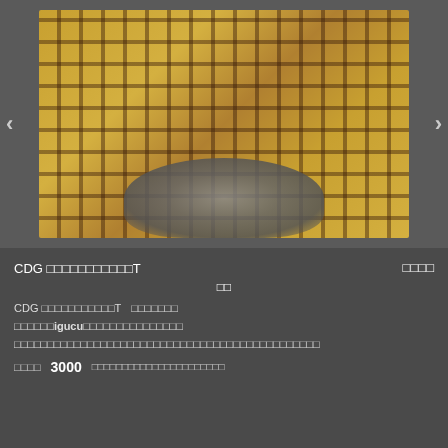[Figure (photo): A small dog wearing a yellow/tan plaid dress with black lettering patterns and blue animal prints, viewed from behind while sitting on a wooden deck surface. Navigation arrows visible on left and right sides.]
CDG □□□□□□□□□□□T　　□□□□
□□
CDG □□□□□□□□□□□T　　□□□□□□□
□□□□□□igucu□□□□□□□□□□□□□□□
□□□□□□□□□□□□□□□□□□□□□□□□□□□□□□□□□□□□□□□□□□□□□□
□□□□　3000　□□□□□□□□□□□□□□□□□□□□□□